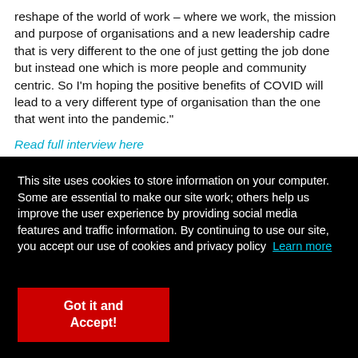reshape of the world of work – where we work, the mission and purpose of organisations and a new leadership cadre that is very different to the one of just getting the job done but instead one which is more people and community centric. So I'm hoping the positive benefits of COVID will lead to a very different type of organisation than the one that went into the pandemic."
Read full interview here
This site uses cookies to store information on your computer. Some are essential to make our site work; others help us improve the user experience by providing social media features and traffic information. By continuing to use our site, you accept our use of cookies and privacy policy  Learn more
Got it and Accept!